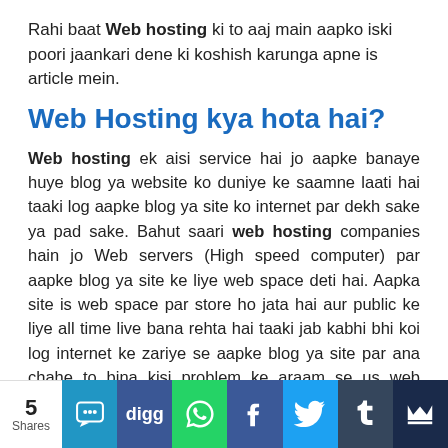Rahi baat Web hosting ki to aaj main aapko iski poori jaankari dene ki koshish karunga apne is article mein.
Web Hosting kya hota hai?
Web hosting ek aisi service hai jo aapke banaye huye blog ya website ko duniye ke saamne laati hai taaki log aapke blog ya site ko internet par dekh sake ya pad sake. Bahut saari web hosting companies hain jo Web servers (High speed computer) par aapke blog ya site ke liye web space deti hai. Aapka site is web space par store ho jata hai aur public ke liye all time live bana rehta hai taaki jab kabhi bhi koi log internet ke zariye se aapke blog ya site par ana chahe to bina kisi problem ke araam se us web server se connect